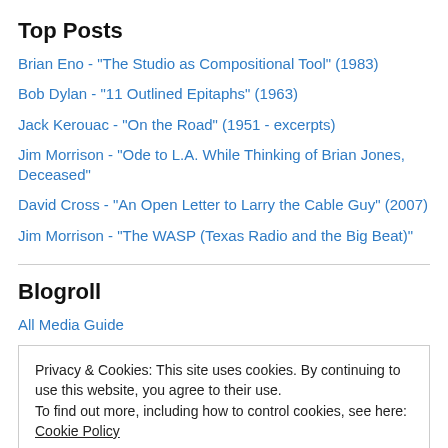Top Posts
Brian Eno - "The Studio as Compositional Tool" (1983)
Bob Dylan - "11 Outlined Epitaphs" (1963)
Jack Kerouac - "On the Road" (1951 - excerpts)
Jim Morrison - "Ode to L.A. While Thinking of Brian Jones, Deceased"
David Cross - "An Open Letter to Larry the Cable Guy" (2007)
Jim Morrison - "The WASP (Texas Radio and the Big Beat)"
Blogroll
All Media Guide
Privacy & Cookies: This site uses cookies. By continuing to use this website, you agree to their use.
To find out more, including how to control cookies, see here: Cookie Policy
Namoli Brennet